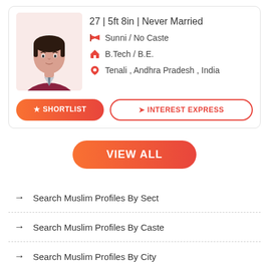[Figure (illustration): Profile card showing a male avatar silhouette in a suit with personal details: 27, 5ft 8in, Never Married, Sunni / No Caste, B.Tech / B.E., Tenali, Andhra Pradesh, India. Two buttons: SHORTLIST and INTEREST EXPRESS.]
VIEW ALL
→ Search Muslim Profiles By Sect
→ Search Muslim Profiles By Caste
→ Search Muslim Profiles By City